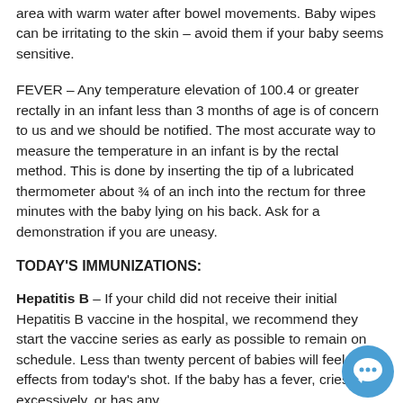area with warm water after bowel movements. Baby wipes can be irritating to the skin – avoid them if your baby seems sensitive.
FEVER – Any temperature elevation of 100.4 or greater rectally in an infant less than 3 months of age is of concern to us and we should be notified. The most accurate way to measure the temperature in an infant is by the rectal method. This is done by inserting the tip of a lubricated thermometer about ¾ of an inch into the rectum for three minutes with the baby lying on his back. Ask for a demonstration if you are uneasy.
TODAY'S IMMUNIZATIONS:
Hepatitis B – If your child did not receive their initial Hepatitis B vaccine in the hospital, we recommend they start the vaccine series as early as possible to remain on schedule. Less than twenty percent of babies will feel any effects from today's shot. If the baby has a fever, cries excessively, or has any